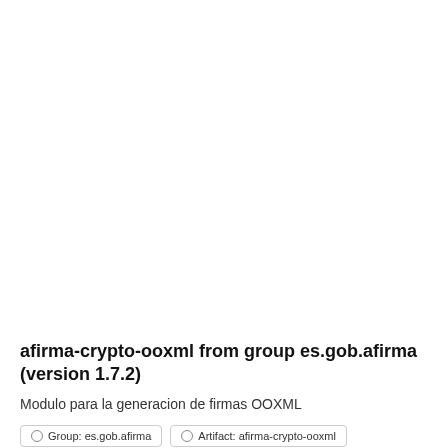afirma-crypto-ooxml from group es.gob.afirma (version 1.7.2)
Modulo para la generacion de firmas OOXML
Group: es.gob.afirma   Artifact: afirma-crypto-ooxml